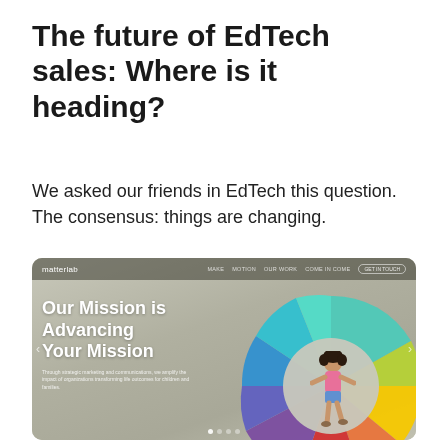The future of EdTech sales: Where is it heading?
We asked our friends in EdTech this question. The consensus: things are changing.
[Figure (screenshot): Screenshot of the Matterlab website homepage showing 'Our Mission is Advancing Your Mission' headline over a concrete background with a colorful wheel/donut graphic and a child image in the center of the wheel.]